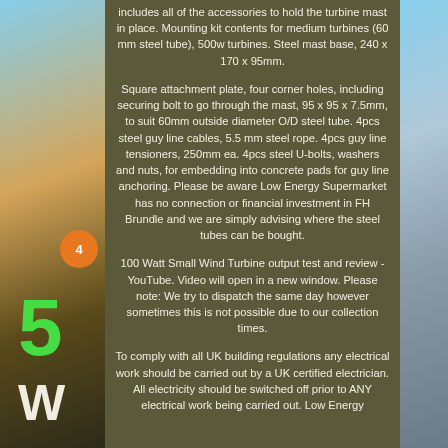includes all of the accessories to hold the turbine mast in place. Mounting kit contents for medium turbines (60 mm steel tube), 500w turbines. Steel mast base, 240 x 170 x 95mm.
Square attachment plate, four corner holes, including securing bolt to go through the mast, 95 x 95 x 7.5mm, to suit 60mm outside diameter O/D steel tube. 4pcs steel guy line cables, 5.5 mm steel rope. 4pcs guy line tensioners, 250mm ea. 4pcs steel U-bolts, washers and nuts, for embedding into concrete pads for guy line anchoring. Please be aware Low Energy Supermarket has no connection or financial investment in FH Brundle and we are simply advising where the steel tubes can be bought.
100 Watt Small Wind Turbine output test and review - YouTube. Video will open in a new window. Please note: We try to dispatch the same day however sometimes this is not possible due to our collection times.
To comply with all UK building regulations any electrical work should be carried out by a UK certified electrician. All electricity should be switched off prior to ANY electrical work being carried out. Low Energy